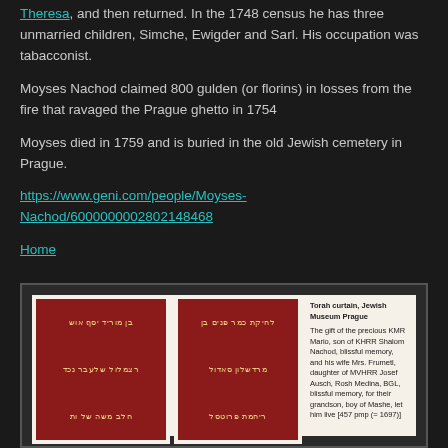Theresa, and then returned. In the 1748 census he has three unmarried children, Simche, Ewigder and Sarl. His occupation was tabacconist.
Moyses Nachod claimed 800 gulden (or florins) in losses from the fire that ravaged the Prague ghetto in 1754
Moyses died in 1759 and is buried in the old Jewish cemetery in Prague.
https://www.geni.com/people/Moyses-Nachod/6000000002802148468
Home
[Figure (photo): Torah curtain from the Jewish Museum Prague, with Hebrew text embroidered on red fabric shown in two panels. Caption explains it was a gift of the precious KMR Mario, son of KHRR Shalom Nachod, and his wife Mrs. Frumetl, daughter of MVHRR Josef Ausch, Rosh Medina, BGL, for their grandson, boy of Mashe, let him live [457 pmp (= 1697)]]